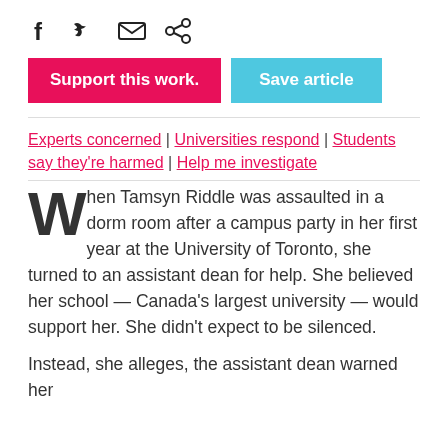[Figure (infographic): Social sharing icons: Facebook (f), Twitter (bird), email (envelope), and link/share icon]
Support this work. | Save article
Experts concerned | Universities respond | Students say they're harmed | Help me investigate
When Tamsyn Riddle was assaulted in a dorm room after a campus party in her first year at the University of Toronto, she turned to an assistant dean for help. She believed her school — Canada's largest university — would support her. She didn't expect to be silenced.
Instead, she alleges, the assistant dean warned her